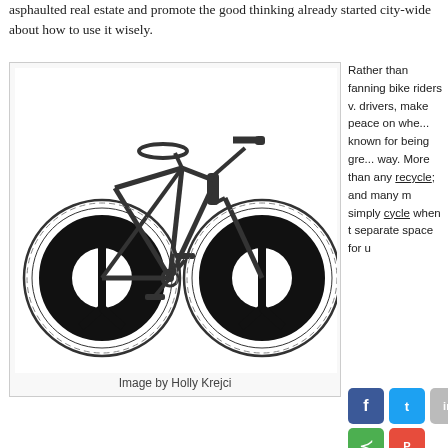asphaulted real estate and promote the good thinking already started city-wide about how to use it wisely.
[Figure (illustration): Line drawing of a bicycle with peace signs as wheels, shown in black and white outline style.]
Image by Holly Krejci
Rather than fanning bike riders v. drivers, make peace on wheels. Known for being green way. More than any recycle; and many m simply cycle when t separate space for u
Posted: May 20th, 2011 under Human Services and Health, Neighborhood Greenways, Nei Public Safety, Transportation
Tags: bicycles, Bike to Work Day, neighborhood greenways